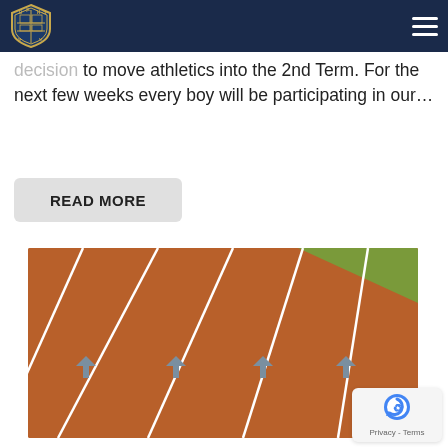DPTHS school navigation bar with logo and hamburger menu
decision to move athletics into the 2nd Term. For the next few weeks every boy will be participating in our…
READ MORE
[Figure (photo): Red athletics running track with white lane lines and blue direction arrows, green grass visible at top right]
Privacy - Terms